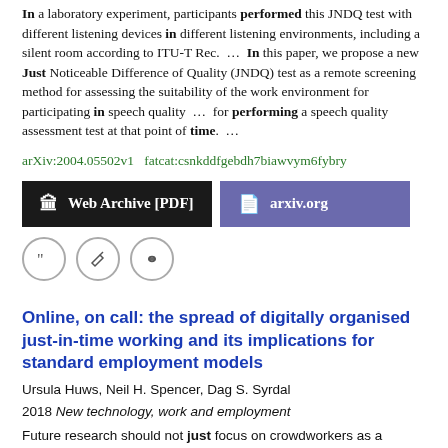In a laboratory experiment, participants performed this JNDQ test with different listening devices in different listening environments, including a silent room according to ITU-T Rec.  …  In this paper, we propose a new Just Noticeable Difference of Quality (JNDQ) test as a remote screening method for assessing the suitability of the work environment for participating in speech quality  …  for performing a speech quality assessment test at that point of time.  …
arXiv:2004.05502v1  fatcat:csnkddfgebdh7biawvym6fybry
[Figure (other): Two buttons: 'Web Archive [PDF]' (dark/black background) and 'arxiv.org' (purple background)]
[Figure (other): Three circular icon buttons: quote icon, edit icon, link icon]
Online, on call: the spread of digitally organised just-in-time working and its implications for standard employment models
Ursula Huws, Neil H. Spencer, Dag S. Syrdal
2018 New technology, work and employment
Future research should not just focus on crowdworkers as a special case but on new patterns of work organisation in the regular workforce. normative model that has been used as a benchmark in Western Europe  …  for European Progressive Studies (FEPS) and the